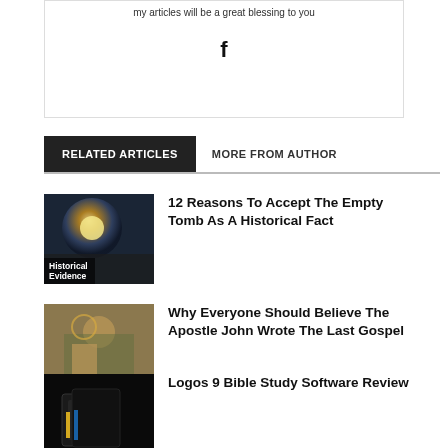my articles will be a great blessing to you
[Figure (other): Facebook icon (f)]
RELATED ARTICLES
MORE FROM AUTHOR
[Figure (photo): Dark sky with light burst - Historical Evidence category image]
12 Reasons To Accept The Empty Tomb As A Historical Fact
[Figure (photo): Byzantine icon painting - Bible category image]
Why Everyone Should Believe The Apostle John Wrote The Last Gospel
[Figure (photo): Dark Bible/book with yellow stripe - Jesus category image]
Logos 9 Bible Study Software Review